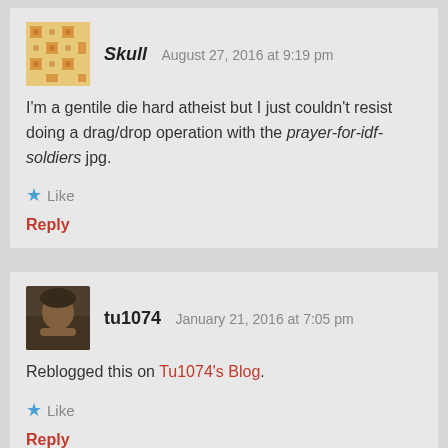[Figure (illustration): Avatar for user Skull: orange/tan mosaic tile pattern icon]
Skull   August 27, 2016 at 9:19 pm
I'm a gentile die hard atheist but I just couldn't resist doing a drag/drop operation with the prayer-for-idf-soldiers jpg.
Like
Reply
[Figure (photo): Avatar photo of tu1074: man resting chin on hand]
tu1074   January 21, 2016 at 7:05 pm
Reblogged this on Tu1074's Blog.
Like
Reply